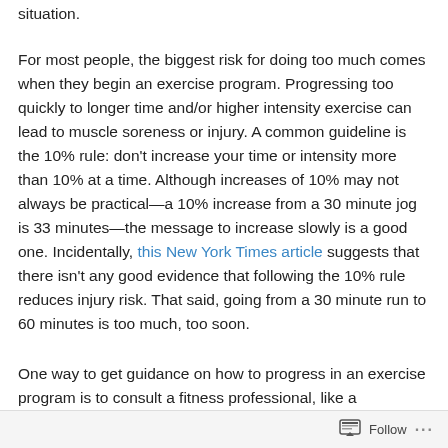situation.
For most people, the biggest risk for doing too much comes when they begin an exercise program. Progressing too quickly to longer time and/or higher intensity exercise can lead to muscle soreness or injury. A common guideline is the 10% rule: don't increase your time or intensity more than 10% at a time. Although increases of 10% may not always be practical—a 10% increase from a 30 minute jog is 33 minutes—the message to increase slowly is a good one. Incidentally, this New York Times article suggests that there isn't any good evidence that following the 10% rule reduces injury risk. That said, going from a 30 minute run to 60 minutes is too much, too soon.
One way to get guidance on how to progress in an exercise program is to consult a fitness professional, like a